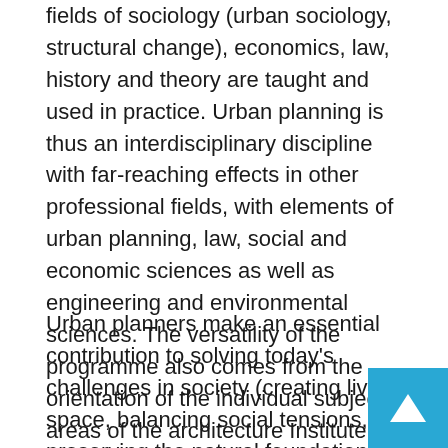fields of sociology (urban sociology, structural change), economics, law, history and theory are taught and used in practice. Urban planning is thus an interdisciplinary discipline with far-reaching effects in other professional fields, with elements of urban planning, law, social and economic sciences as well as engineering and environmental sciences. The versatility of the programme also comes from the orientation of the individual subject areas of the architecture Institute and of the individual subject areas of the civil engineering Institute, as well as of the engineering and environmental sciences.
Urban planners make an essential contribution to solving today's challenges in society (creating living space, balancing social tensions, preserving the natural foundations of life, considering economic effects and legal framework conditions). In addition to specialist knowledge, creativity and innovative thinking as well as